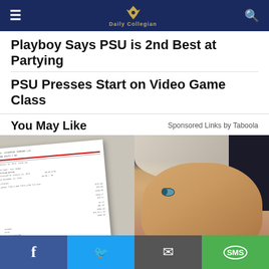Daily Collegian navigation bar with menu, logo, and search
Playboy Says PSU is 2nd Best at Partying
PSU Presses Start on Video Game Class
You May Like
Sponsored Links by Taboola
[Figure (photo): Close-up photo of a document/bill being held, showing financial statement details]
[Figure (photo): Close-up photo of an elderly woman with short gray hair and blue eyes looking at camera]
Social sharing bar: Facebook, Twitter, Email, SMS